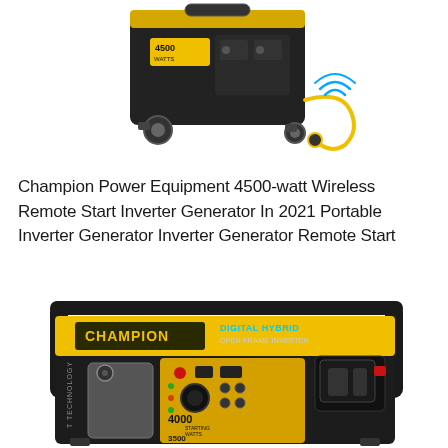[Figure (photo): Champion Power Equipment 4500-watt portable inverter generator with wireless remote start, shown in black with yellow branding, featuring wheels and a power cable with wireless signal symbol.]
Champion Power Equipment 4500-watt Wireless Remote Start Inverter Generator In 2021 Portable Inverter Generator Inverter Generator Remote Start
[Figure (photo): Champion Digital Hybrid Open Frame Inverter generator, yellow and black, showing front panel with 4000 starting watts and 3500 running watts labels, control panel with outlets and switches, and carry handles.]